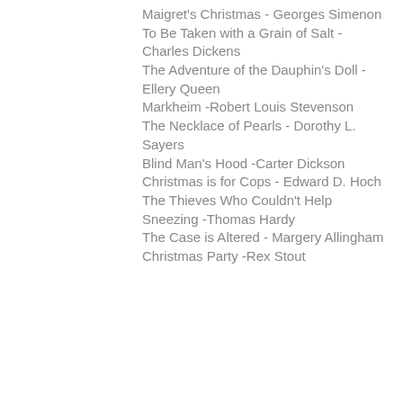Maigret's Christmas - Georges Simenon
To Be Taken with a Grain of Salt -Charles Dickens
The Adventure of the Dauphin's Doll -Ellery Queen
Markheim -Robert Louis Stevenson
The Necklace of Pearls - Dorothy L. Sayers
Blind Man's Hood -Carter Dickson
Christmas is for Cops - Edward D. Hoch
The Thieves Who Couldn't Help Sneezing -Thomas Hardy
The Case is Altered - Margery Allingham
Christmas Party -Rex Stout